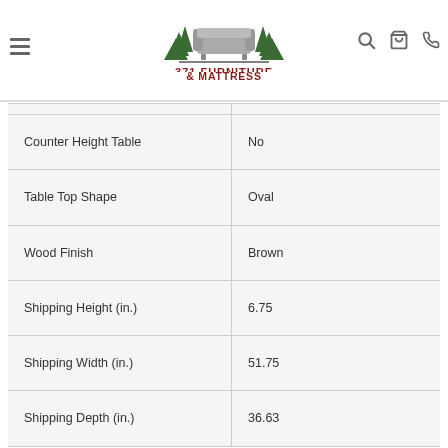371 Furniture & Mattress — Navigation bar with logo, search, cart, and phone icons
| Counter Height Table | No |
| Table Top Shape | Oval |
| Wood Finish | Brown |
| Shipping Height (in.) | 6.75 |
| Shipping Width (in.) | 51.75 |
| Shipping Depth (in.) | 36.63 |